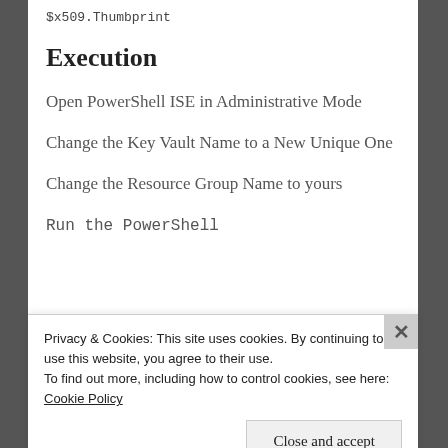$x509.Thumbprint
Execution
Open PowerShell ISE in Administrative Mode
Change the Key Vault Name to a New Unique One
Change the Resource Group Name to yours
Run the PowerShell
Privacy & Cookies: This site uses cookies. By continuing to use this website, you agree to their use.
To find out more, including how to control cookies, see here: Cookie Policy
Close and accept